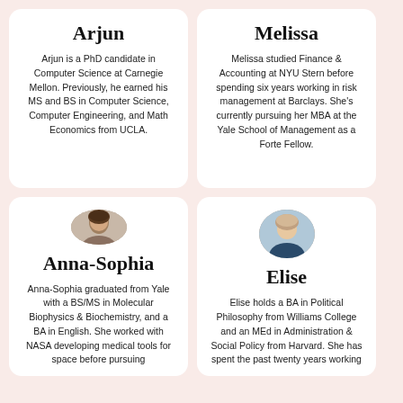Arjun
Arjun is a PhD candidate in Computer Science at Carnegie Mellon. Previously, he earned his MS and BS in Computer Science, Computer Engineering, and Math Economics from UCLA.
Melissa
Melissa studied Finance & Accounting at NYU Stern before spending six years working in risk management at Barclays. She's currently pursuing her MBA at the Yale School of Management as a Forte Fellow.
[Figure (photo): Circular headshot of Anna-Sophia]
Anna-Sophia
Anna-Sophia graduated from Yale with a BS/MS in Molecular Biophysics & Biochemistry, and a BA in English. She worked with NASA developing medical tools for space before pursuing
[Figure (photo): Circular headshot of Elise]
Elise
Elise holds a BA in Political Philosophy from Williams College and an MEd in Administration & Social Policy from Harvard. She has spent the past twenty years working